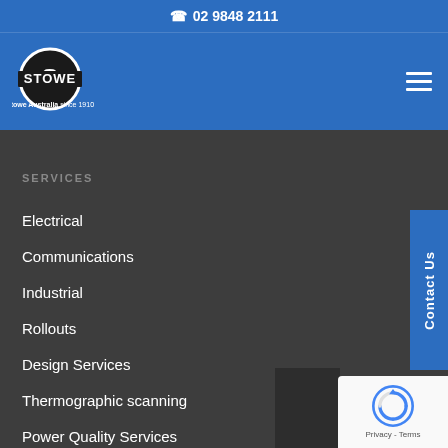02 9848 2111
[Figure (logo): Stowe Australia logo with circular S emblem and text 'STOWE' and 'Stowe Australia since 1910']
SERVICES
Electrical
Communications
Industrial
Rollouts
Design Services
Thermographic scanning
Power Quality Services
Energy Management